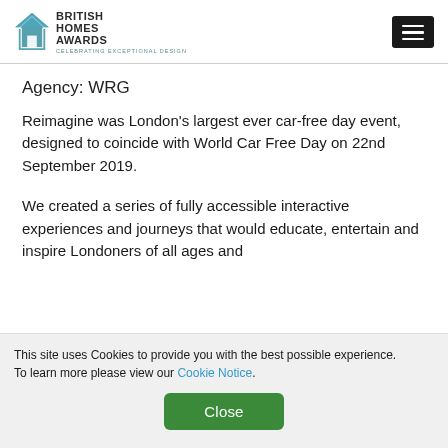British Homes Awards — Celebrating Exceptional Design
Agency: WRG
Reimagine was London's largest ever car-free day event, designed to coincide with World Car Free Day on 22nd September 2019.
We created a series of fully accessible interactive experiences and journeys that would educate, entertain and inspire Londoners of all ages and backgrounds to envision what the best possible cycle-friendly street could look like, rather than...
This site uses Cookies to provide you with the best possible experience. To learn more please view our Cookie Notice.
Close